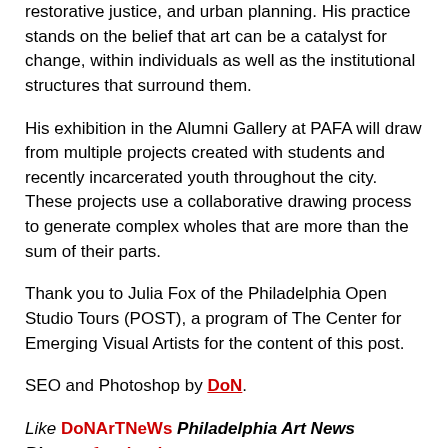restorative justice, and urban planning. His practice stands on the belief that art can be a catalyst for change, within individuals as well as the institutional structures that surround them.
His exhibition in the Alumni Gallery at PAFA will draw from multiple projects created with students and recently incarcerated youth throughout the city. These projects use a collaborative drawing process to generate complex wholes that are more than the sum of their parts.
Thank you to Julia Fox of the Philadelphia Open Studio Tours (POST), a program of The Center for Emerging Visual Artists for the content of this post.
SEO and Photoshop by DoN.
Like DoNArTNeWs Philadelphia Art News Blog on facebook